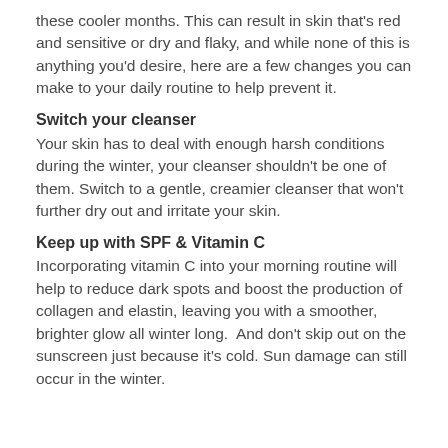these cooler months. This can result in skin that's red and sensitive or dry and flaky, and while none of this is anything you'd desire, here are a few changes you can make to your daily routine to help prevent it.
Switch your cleanser
Your skin has to deal with enough harsh conditions during the winter, your cleanser shouldn't be one of them. Switch to a gentle, creamier cleanser that won't further dry out and irritate your skin.
Keep up with SPF & Vitamin C
Incorporating vitamin C into your morning routine will help to reduce dark spots and boost the production of collagen and elastin, leaving you with a smoother, brighter glow all winter long.  And don't skip out on the sunscreen just because it's cold. Sun damage can still occur in the winter.